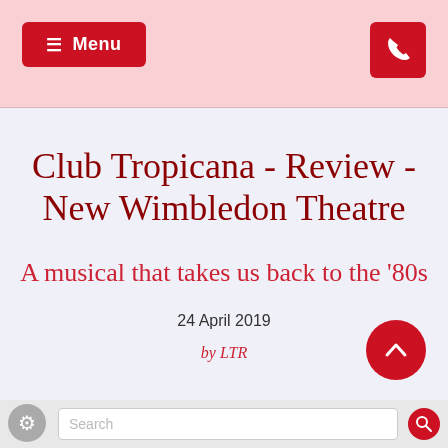Menu  [phone icon]
Club Tropicana - Review - New Wimbledon Theatre
A musical that takes us back to the '80s
24 April 2019
by LTR